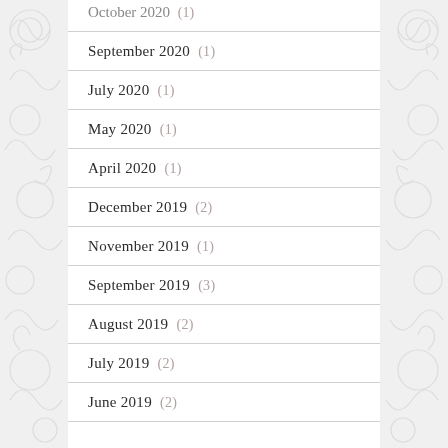October 2020 (1)
September 2020 (1)
July 2020 (1)
May 2020 (1)
April 2020 (1)
December 2019 (2)
November 2019 (1)
September 2019 (3)
August 2019 (2)
July 2019 (2)
June 2019 (2)